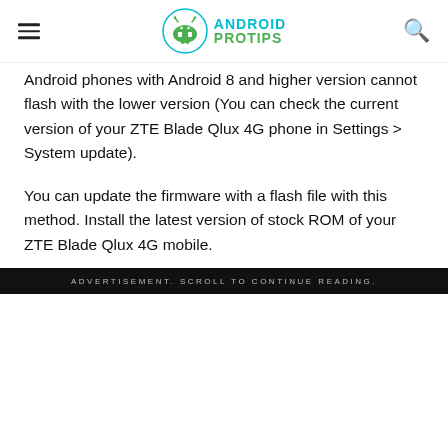Android Pro Tips
Android phones with Android 8 and higher version cannot flash with the lower version (You can check the current version of your ZTE Blade Qlux 4G phone in Settings > System update).
You can update the firmware with a flash file with this method. Install the latest version of stock ROM of your ZTE Blade Qlux 4G mobile.
ADVERTISEMENT. SCROLL TO CONTINUE READING.